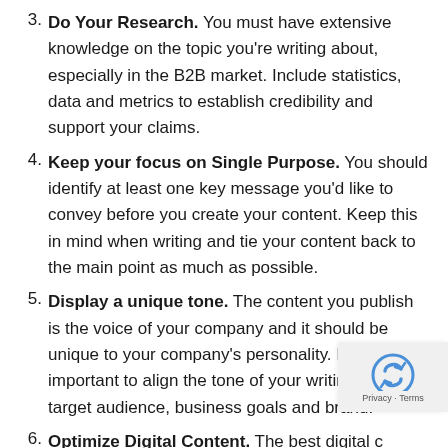3. Do Your Research. You must have extensive knowledge on the topic you're writing about, especially in the B2B market. Include statistics, data and metrics to establish credibility and support your claims.
4. Keep your focus on Single Purpose. You should identify at least one key message you'd like to convey before you create your content. Keep this in mind when writing and tie your content back to the main point as much as possible.
5. Display a unique tone. The content you publish is the voice of your company and it should be unique to your company's personality. It's important to align the tone of your writing to your target audience, business goals and brand.
6. Optimize Digital Content. The best digital c… often consists of short paragraphs, short